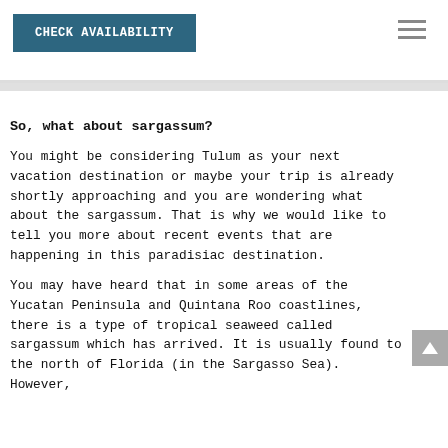CHECK AVAILABILITY
So, what about sargassum?
You might be considering Tulum as your next vacation destination or maybe your trip is already shortly approaching and you are wondering what about the sargassum. That is why we would like to tell you more about recent events that are happening in this paradisiac destination.
You may have heard that in some areas of the Yucatan Peninsula and Quintana Roo coastlines, there is a type of tropical seaweed called sargassum which has arrived. It is usually found to the north of Florida (in the Sargasso Sea). However,